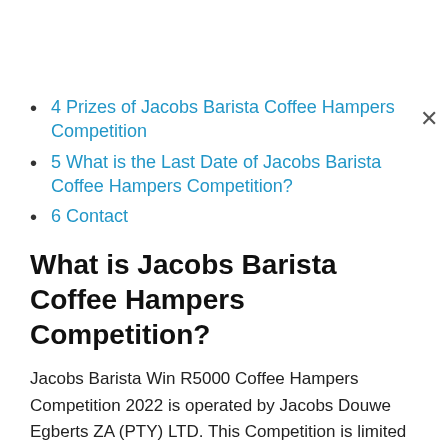4 Prizes of Jacobs Barista Coffee Hampers Competition
5 What is the Last Date of Jacobs Barista Coffee Hampers Competition?
6 Contact
What is Jacobs Barista Coffee Hampers Competition?
Jacobs Barista Win R5000 Coffee Hampers Competition 2022 is operated by Jacobs Douwe Egberts ZA (PTY) LTD. This Competition is limited to legal residents and citizens of South Africa. Participants are required to